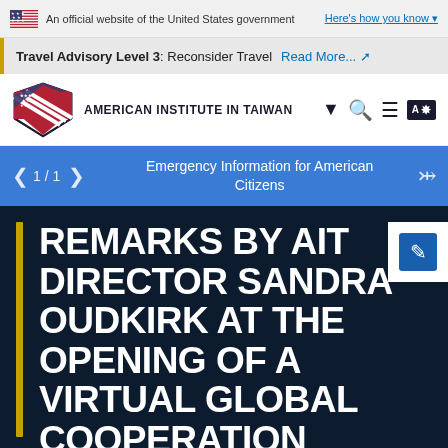An official website of the United States government  Here's how you know
Travel Advisory Level 3: Reconsider Travel  Read More...
AMERICAN INSTITUTE IN TAIWAN
1 / 1  Emergency Information for American Citizens
REMARKS BY AIT DIRECTOR SANDRA OUDKIRK AT THE OPENING OF A VIRTUAL GLOBAL COOPERATION...